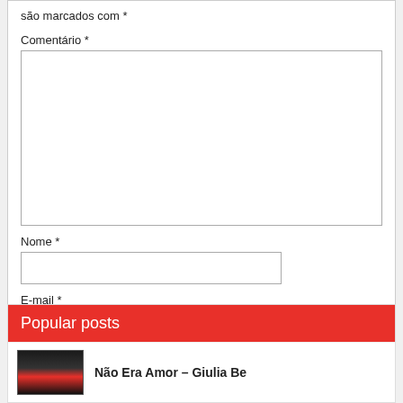são marcados com *
Comentário *
Nome *
E-mail *
Site
Publicar comentário
Popular posts
Não Era Amor – Giulia Be